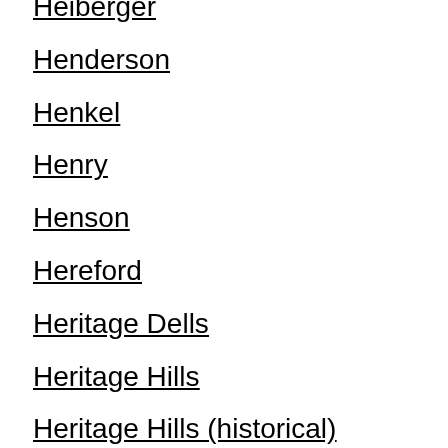Heiberger
Henderson
Henkel
Henry
Henson
Hereford
Heritage Dells
Heritage Hills
Heritage Hills (historical)
Hermosa
Herzman Mesa